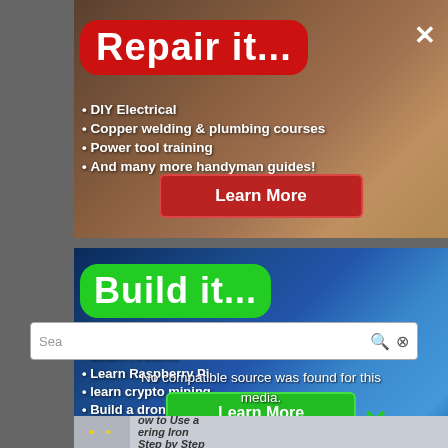[Figure (screenshot): Advertisement popup overlay - top half showing 'Repair it...' DIY electrical courses ad with red background title blob, bullet points, and Learn More button over a photo of electrical work]
Repair it...
DIY Electrical
Copper welding & plumbing courses
Power tool training
And many more handyman guides!
Learn More
[Figure (screenshot): Advertisement popup overlay - bottom half showing 'Build it...' electronics/Arduino courses ad with green background title blob, bullet points, and Learn More button over a photo of Arduino UNO board]
Build it...
Learn Arduino
Learn Raspberry Pi
learn crypto mining
Build a drone from scratch!
Learn More
No compatible source was found for this media.
How to Use a Soldering Iron Step by Step